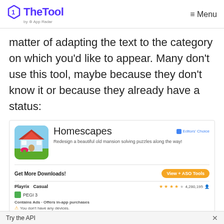TheTool by App Radar — Menu
matter of adapting the text to the category on which you’d like to appear. Many don’t use this tool, maybe because they don’t know it or because they already have a status:
[Figure (screenshot): Google Play Store listing for Homescapes app showing app icon, title, Editors' Choice badge, description, Get More Downloads CTA, View + ASO Tools button, Playrix/Casual category, 4-star rating with 4,280,195 reviews, PEGI 3 rating, Contains Ads notice, Add to Wishlist and Install buttons.]
Try the API